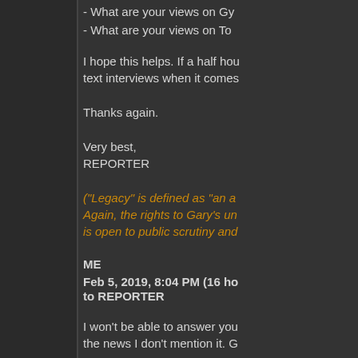- What are your views on Gy...
- What are your views on To...
I hope this helps. If a half hou... text interviews when it comes...
Thanks again.
Very best,
REPORTER
("Legacy" is defined as "an a... Again, the rights to Gary's un... is open to public scrutiny and...
ME
Feb 5, 2019, 8:04 PM (16 ho... to REPORTER
I won't be able to answer you... the news I don't mention it. G...
I have no insights into Gary's...